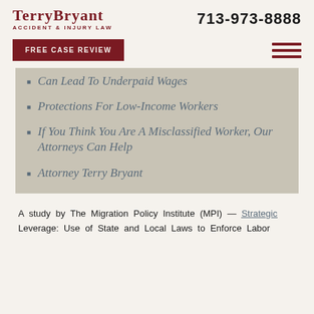TerryBryant ACCIDENT & INJURY LAW | 713-973-8888
Can Lead To Underpaid Wages
Protections For Low-Income Workers
If You Think You Are A Misclassified Worker, Our Attorneys Can Help
Attorney Terry Bryant
A study by The Migration Policy Institute (MPI) — Strategic Leverage: Use of State and Local Laws to Enforce Labor